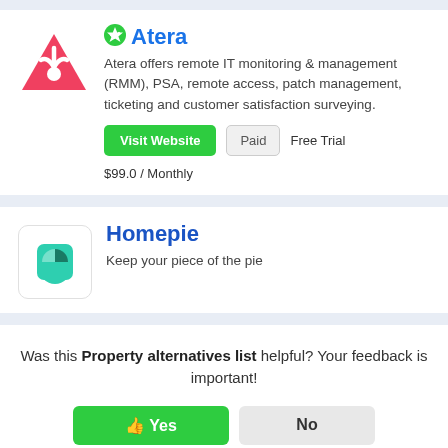Atera
Atera offers remote IT monitoring & management (RMM), PSA, remote access, patch management, ticketing and customer satisfaction surveying.
Visit Website | Paid | Free Trial | $99.0 / Monthly
Homepie
Keep your piece of the pie
Was this Property alternatives list helpful? Your feedback is important!